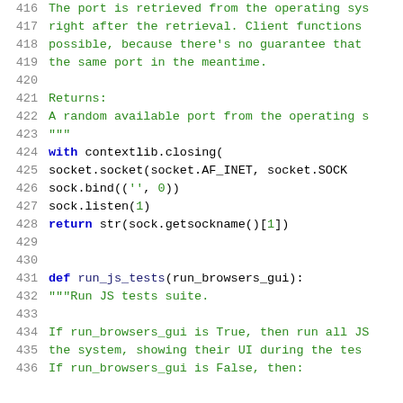Code snippet showing lines 416-436 of a Python source file with docstring comments and function definitions.